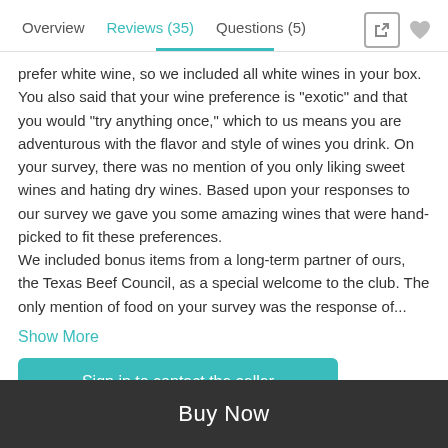Overview  Reviews (35)  Questions (5)
prefer white wine, so we included all white wines in your box. You also said that your wine preference is "exotic" and that you would "try anything once," which to us means you are adventurous with the flavor and style of wines you drink. On your survey, there was no mention of you only liking sweet wines and hating dry wines. Based upon your responses to our survey we gave you some amazing wines that were hand-picked to fit these preferences.
We included bonus items from a long-term partner of ours, the Texas Beef Council, as a special welcome to the club. The only mention of food on your survey was the response of...
Show More
Sign in to contact the seller
Buy Now